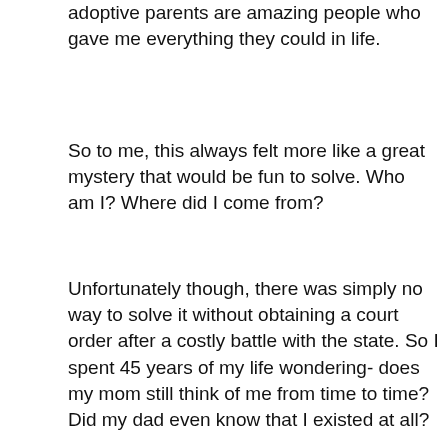adoptive parents are amazing people who gave me everything they could in life.
So to me, this always felt more like a great mystery that would be fun to solve. Who am I? Where did I come from?
Unfortunately though, there was simply no way to solve it without obtaining a court order after a costly battle with the state. So I spent 45 years of my life wondering- does my mom still think of me from time to time? Did my dad even know that I existed at all?
One other little wrinkle to my story is that mom had an affair while separated from her husband. She was young with a small child and a family of her own, still trying to figure things out in life while making her marriage work. Once the pregnancy became known, the husband presented her with an ultimatum- have an abortion or file